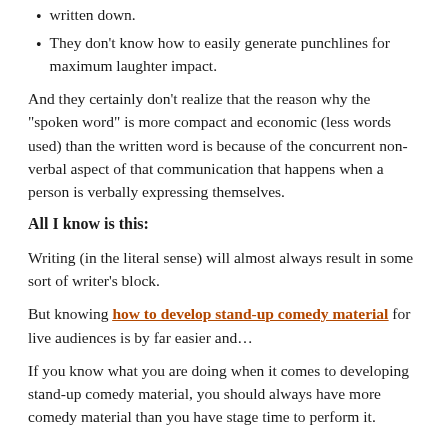written down.
They don't know how to easily generate punchlines for maximum laughter impact.
And they certainly don't realize that the reason why the “spoken word” is more compact and economic (less words used) than the written word is because of the concurrent non-verbal aspect of that communication that happens when a person is verbally expressing themselves.
All I know is this:
Writing (in the literal sense) will almost always result in some sort of writer’s block.
But knowing how to develop stand-up comedy material for live audiences is by far easier and…
If you know what you are doing when it comes to developing stand-up comedy material, you should always have more comedy material than you have stage time to perform it.